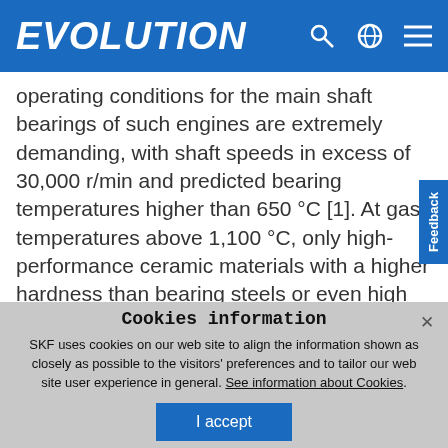EVOLUTION
operating conditions for the main shaft bearings of such engines are extremely demanding, with shaft speeds in excess of 30,000 r/min and predicted bearing temperatures higher than 650 °C [1]. At gas temperatures above 1,100 °C, only high-performance ceramic materials with a higher hardness than bearing steels or even high cobalt-based stellites and high tungsten alloy tool steels are considered. The primary use of gas turbines has been in jet engines. This application demands materials that are low in
Cookies information
SKF uses cookies on our web site to align the information shown as closely as possible to the visitors' preferences and to tailor our web site user experience in general. See information about Cookies.
I accept